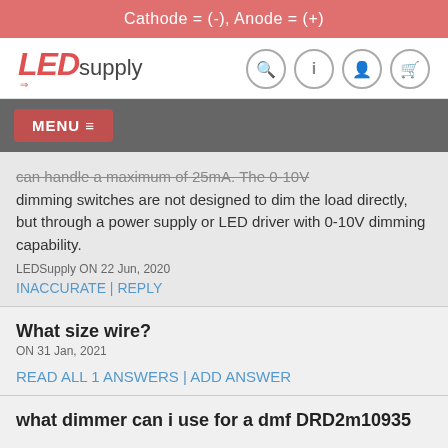Cathode = (-), Anode = (+)
[Figure (logo): LEDsupply logo with search, info, account, and cart icons]
MENU ≡
can handle a maximum of 25mA. The 0-10V dimming switches are not designed to dim the load directly, but through a power supply or LED driver with 0-10V dimming capability.
LEDSupply ON 22 Jun, 2020
INACCURATE | REPLY
What size wire?
ON 31 Jan, 2021
READ ALL 1 ANSWERS | ADD ANSWER
what dimmer can i use for a dmf DRD2m10935